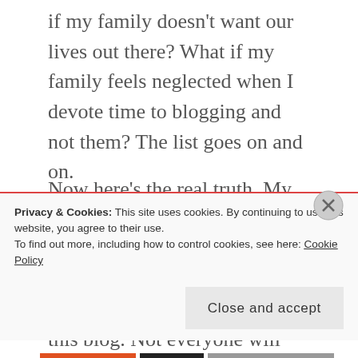if my family doesn't want our lives out there? What if my family feels neglected when I devote time to blogging and not them? The list goes on and on.
Now here's the real truth. My life is interesting, crazy, and even boring at times. I do have something special that is worth sharing. Not everyone will like this blog. Not everyone will hate this blog. I let me
Privacy & Cookies: This site uses cookies. By continuing to use this website, you agree to their use.
To find out more, including how to control cookies, see here: Cookie Policy
Close and accept